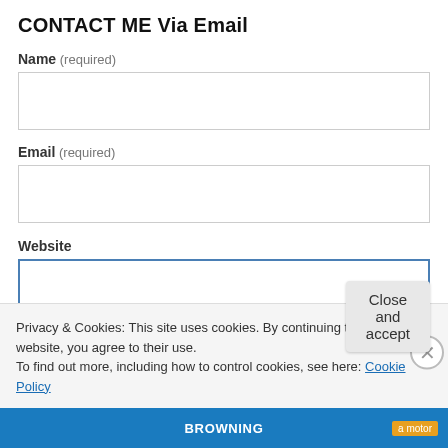CONTACT ME Via Email
Name (required)
Email (required)
Website
Privacy & Cookies: This site uses cookies. By continuing to use this website, you agree to their use.
To find out more, including how to control cookies, see here: Cookie Policy
Close and accept